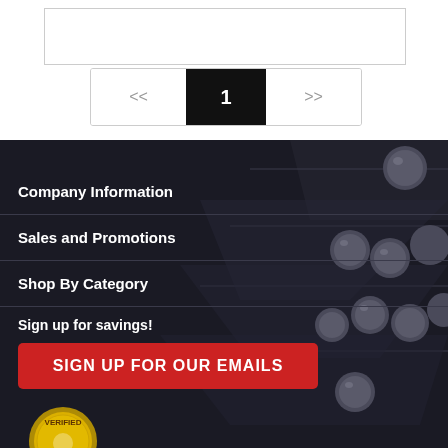[Figure (screenshot): Empty white search/input box with thin border]
[Figure (screenshot): Pagination control with << 1 >> showing current page 1 in black, flanked by navigation arrows]
Company Information
Sales and Promotions
Shop By Category
Sign up for savings!
[Figure (screenshot): Red button with white text: SIGN UP FOR OUR EMAILS]
[Figure (logo): Authorize.Net Verified logo badge]